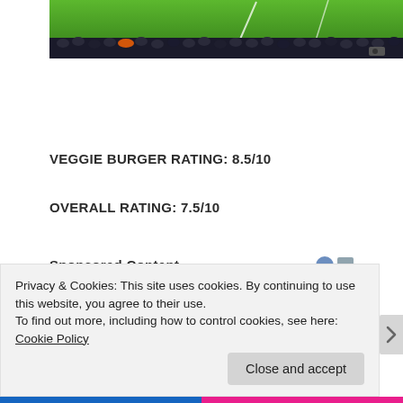[Figure (photo): Aerial view of a football stadium pitch with crowd in foreground, green grass with white line markings visible]
VEGGIE BURGER RATING: 8.5/10
OVERALL RATING: 7.5/10
Sponsored Content
Privacy & Cookies: This site uses cookies. By continuing to use this website, you agree to their use.
To find out more, including how to control cookies, see here: Cookie Policy
Close and accept